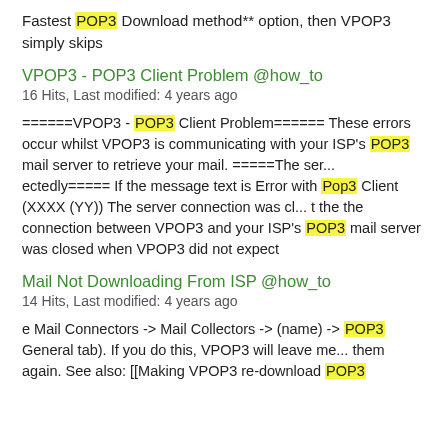Fastest POP3 Download method** option, then VPOP3 simply skips
VPOP3 - POP3 Client Problem @how_to
16 Hits, Last modified: 4 years ago
======VPOP3 - POP3 Client Problem====== These errors occur whilst VPOP3 is communicating with your ISP's POP3 mail server to retrieve your mail. =====The ser... ectedly===== If the message text is Error with Pop3 Client (XXXX (YY)) The server connection was cl... t the the connection between VPOP3 and your ISP's POP3 mail server was closed when VPOP3 did not expect
Mail Not Downloading From ISP @how_to
14 Hits, Last modified: 4 years ago
e Mail Connectors -> Mail Collectors -> (name) -> POP3 General tab). If you do this, VPOP3 will leave me... them again. See also: [[Making VPOP3 re-download POP3